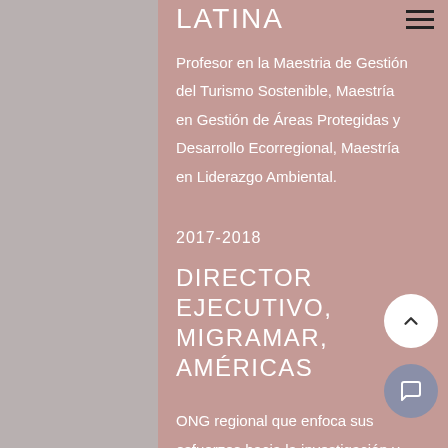LATINA
Profesor en la Maestria de Gestión del Turismo Sostenible, Maestría en Gestión de Áreas Protegidas y Desarrollo Ecorregional, Maestría en Liderazgo Ambiental.
2017-2018
DIRECTOR EJECUTIVO, MIGRAMAR, AMÉRICAS
ONG regional que enfoca sus esfuerzos hacia la investigación y conservación de las especies marinas migratorias de los Estados Unidos hasta